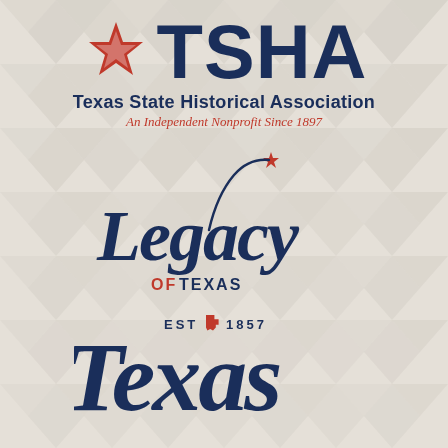[Figure (logo): TSHA logo with red star graphic to the left of large bold navy 'TSHA' text, followed by 'Texas State Historical Association' in navy bold and 'An Independent Nonprofit Since 1897' in red italic]
[Figure (logo): Legacy of Texas logo: red star with swirl/shooting star arc above cursive navy 'Legacy' script with red 'OF' and navy 'TEXAS' text]
[Figure (logo): Texas logo with 'EST 1857' and small Texas state shape icon above large cursive navy 'Texas' script (partially visible, cropped at bottom)]